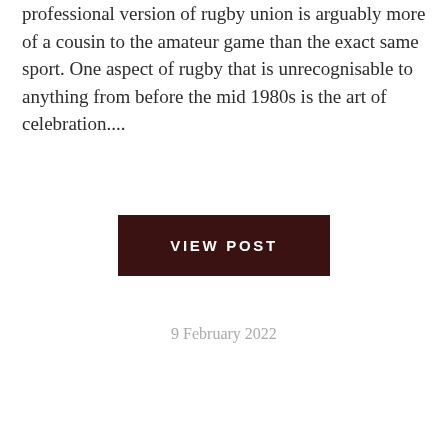professional version of rugby union is arguably more of a cousin to the amateur game than the exact same sport. One aspect of rugby that is unrecognisable to anything from before the mid 1980s is the art of celebration....
VIEW POST
9 February 2022